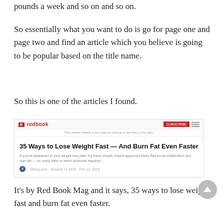pounds a week and so on and so on.
So essentially what you want to do is go for page one and page two and find an article which you believe is going to be popular based on the title name.
So this is one of the articles I found.
[Figure (screenshot): Screenshot of a Redbook magazine article titled '35 Ways to Lose Weight Fast — And Burn Fat Even Faster' with subtitle text about metabolism and burn fat tips, and social media metadata.]
It's by Red Book Mag and it says, 35 ways to lose weight fast and burn fat even faster.
I really like this article.
It's a...